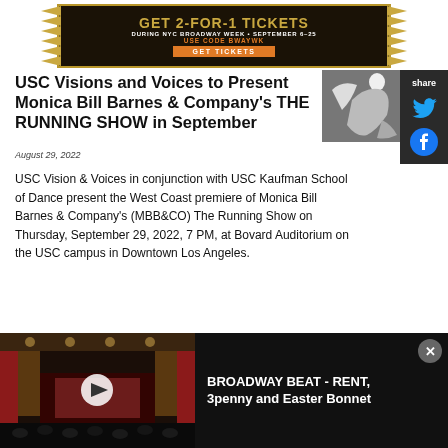[Figure (infographic): Broadway Week ad banner: 'GET 2-FOR-1 TICKETS DURING NYC BROADWAY WEEK SEPTEMBER 6-25 USE CODE BWAYWK GET TICKETS' with gold and orange styling on dark background]
USC Visions and Voices to Present Monica Bill Barnes & Company's THE RUNNING SHOW in September
[Figure (photo): Black and white photo of a performer in motion]
share
August 29, 2022
USC Vision & Voices in conjunction with USC Kaufman School of Dance present the West Coast premiere of Monica Bill Barnes & Company's (MBB&CO) The Running Show on Thursday, September 29, 2022, 7 PM, at Bovard Auditorium on the USC campus in Downtown Los Angeles.
[Figure (screenshot): Video thumbnail showing a theater stage with red curtains and dark seating area, with play button overlay. Text: 'BROADWAY BEAT - RENT, 3penny and Easter Bonnet']